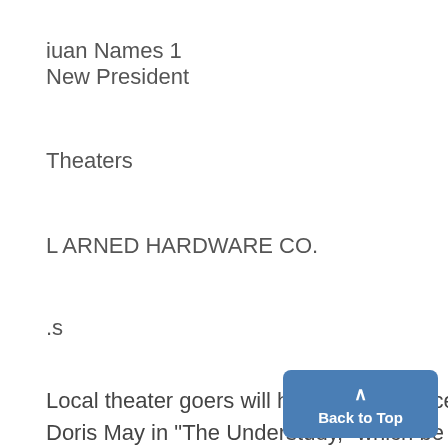iuan Names 1
New President
Theaters
L ARNED HARDWARE CO.
.s
Local theater goers will have a big chance to laugh at and enjoy Doris May in "The Understudy," which be the attraction at the Wuerth